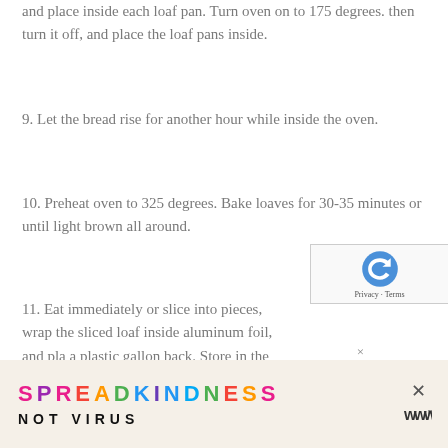and place inside each loaf pan.  Turn oven on to 175 degrees. then turn it off, and place the loaf pans inside.
9.  Let the bread rise for another hour while inside the oven.
10.  Preheat oven to 325 degrees.  Bake loaves for 30-35 minutes or until light brown all around.
11.  Eat immediately or slice into pieces, wrap the sliced loaf inside aluminum foil, and pla a plastic gallon back.  Store in the freezer f months.
[Figure (other): SPREAD KINDNESS NOT VIRUS advertisement banner with colorful lettering and close button]